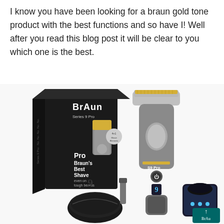I know you have been looking for a braun gold tone product with the best functions and so have I! Well after you read this blog post it will be clear to you which one is the best.
[Figure (photo): Product photo of Braun Series 9 Pro electric shaver showing the retail box (black with 'BRAUN Series 9 Pro' branding and text 'Pro Braun's Best Shave even on tough beards'), the silver electric shaver with gold foil head, a black carrying case, a charging stand, and accessories.]